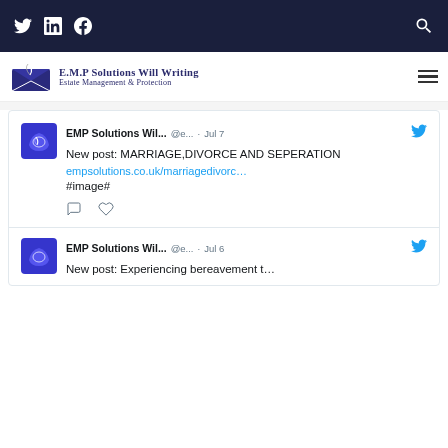Twitter LinkedIn Facebook [search]
[Figure (logo): E.M.P Solutions Will Writing logo with envelope and quill icon, text: E.M.P Solutions Will Writing, Estate Management & Protection]
[Figure (screenshot): Tweet from EMP Solutions Wil... @e... Jul 7: New post: MARRIAGE,DIVORCE AND SEPERATION empsolutions.co.uk/marriagedivorc... #image#]
[Figure (screenshot): Partial tweet from EMP Solutions Wil... @e... Jul 6: New post (text cut off)]